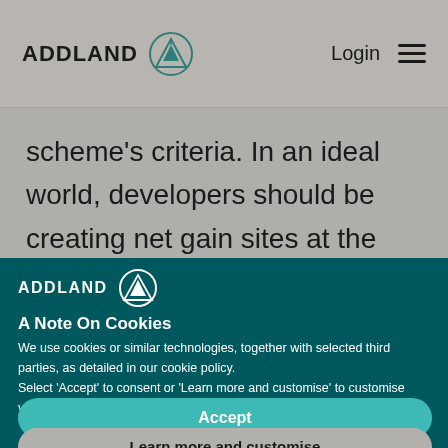ADDLAND  Login  ☰
scheme's criteria. In an ideal world, developers should be creating net gain sites at the location of
[Figure (logo): Addland logo with circular mountain icon, white text on teal background]
A Note On Cookies
We use cookies or similar technologies, together with selected third parties, as detailed in our cookie policy. Select 'Accept' to consent or 'Learn more and customise' to customise your settings.
Accept
Learn more and customise